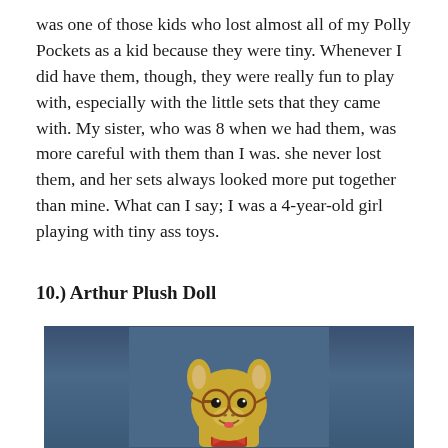was one of those kids who lost almost all of my Polly Pockets as a kid because they were tiny. Whenever I did have them, though, they were really fun to play with, especially with the little sets that they came with. My sister, who was 8 when we had them, was more careful with them than I was. she never lost them, and her sets always looked more put together than mine. What can I say; I was a 4-year-old girl playing with tiny ass toys.
10.) Arthur Plush Doll
[Figure (photo): Photo of an Arthur the Aardvark plush doll with round glasses, yellow/tan fur, round face with a smile, ears sticking up, against a blue background.]